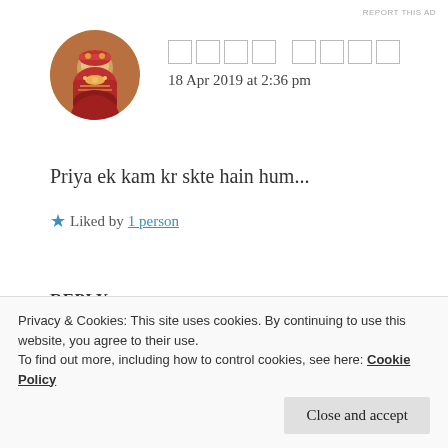REPORT THIS AD
[Figure (photo): Circular avatar photo of a woman in traditional Indian bridal attire with red and gold outfit and jewelry]
□□□□ □□□□
18 Apr 2019 at 2:36 pm
Priya ek kam kr skte hain hum...
★ Liked by 1 person
REPLY
Privacy & Cookies: This site uses cookies. By continuing to use this website, you agree to their use.
To find out more, including how to control cookies, see here: Cookie Policy
Close and accept